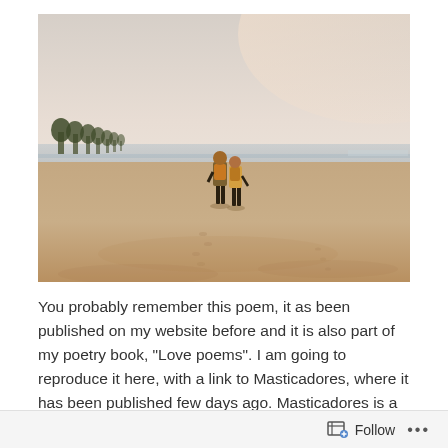[Figure (photo): Two people with backpacks walking on a wide sandy beach toward the ocean. Trees visible on the left horizon, hazy sky with warm light.]
You probably remember this poem, it as been published on my website before and it is also part of my poetry book, “Love poems”. I am going to reproduce it here, with a link to Masticadores, where it has been published few days ago. Masticadores is a year old platform that tries to unify authors from across the world; many of
Follow ...